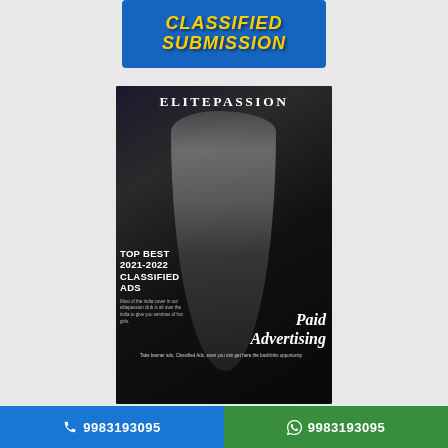[Figure (illustration): Blue banner with yellow italic bold text reading CLASSIFIED SUBMISSION]
[Figure (illustration): Dark promotional card for ElitePassion classified ads site with silhouette image, brand name at top, TOP BEST 2021-2022 CLASSIFIED ADS text, small body copy, and Paid Advertising text at bottom]
9983193095
9983193095